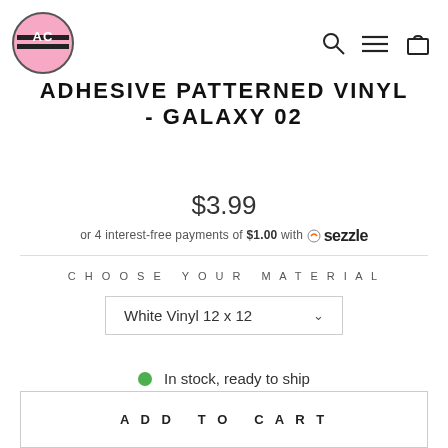AC logo, search, menu, cart icons
ADHESIVE PATTERNED VINYL - GALAXY 02
$3.99
or 4 interest-free payments of $1.00 with Sezzle
CHOOSE YOUR MATERIAL
White Vinyl 12 x 12
In stock, ready to ship
ADD TO CART